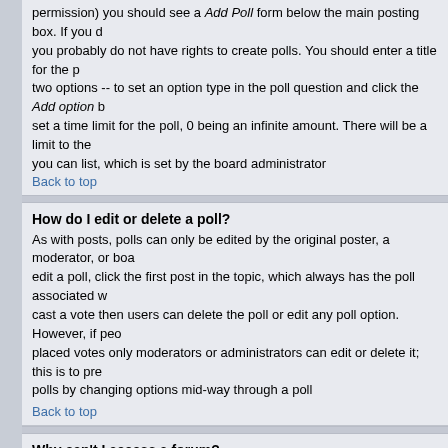permission) you should see a Add Poll form below the main posting box. If you do not see this you probably do not have rights to create polls. You should enter a title for the poll and then at least two options -- to set an option type in the poll question and click the Add option button. You can also set a time limit for the poll, 0 being an infinite amount. There will be a limit to the number of options you can list, which is set by the board administrator
Back to top
How do I edit or delete a poll?
As with posts, polls can only be edited by the original poster, a moderator, or board administrator. To edit a poll, click the first post in the topic, which always has the poll associated with it. If no one has cast a vote then users can delete the poll or edit any poll option. However, if people have already placed votes only moderators or administrators can edit or delete it; this is to prevent people rigging polls by changing options mid-way through a poll
Back to top
Why can't I access a forum?
Some forums may be limited to certain users or groups. To view, read, post, etc. you may need special authorization which only the forum moderator and board administrator can grant, so you should contact them.
Back to top
Why can't I vote in polls?
Only registered users can vote in polls so as to prevent spoofing of results. If you have registered and still cannot vote then you probably do not have appropriate access rights.
Back to top